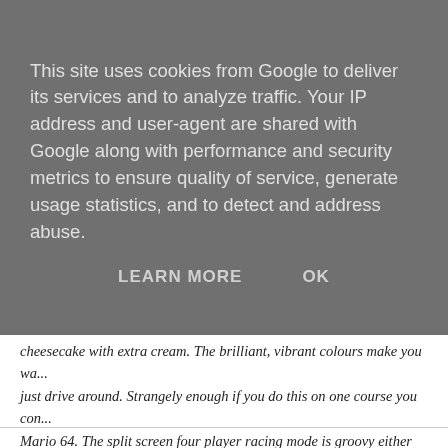This site uses cookies from Google to deliver its services and to analyze traffic. Your IP address and user-agent are shared with Google along with performance and security metrics to ensure quality of service, generate usage statistics, and to detect and address abuse.
LEARN MORE   OK
cheesecake with extra cream. The brilliant, vibrant colours make you wa... just drive around. Strangely enough if you do this on one course you con... Mario 64. The split screen four player racing mode is groovy either as a t... mode - if by "battle" they mean throwing empty red and green turtle shell...
Bomberman 64 (Nintendo 64 - HudsonSoft - £49.99)
Its' 16-bit baby brother was the most fun you could have with four people... Unfortunately the 64-bit version is PANTS. Badly thought out and badly d... What should have been a sure fire winner is a pathetic waste of money. T... difficult to control so you often blow yourself up by accident. What's more... cardinal sin in that you can't see what's going on. The action is all happe... which is neither engaging nor useful. Avoid, my little friends, avoid.
Posted by overyourhead at Thursday, March 14, 2002   No comments: